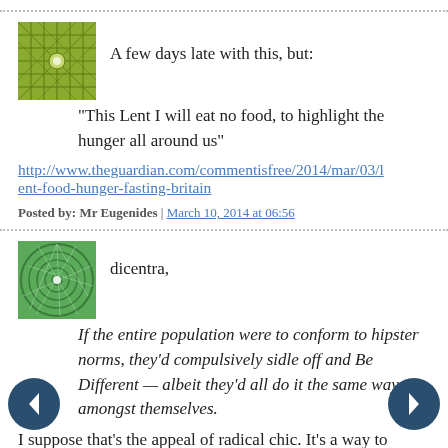A few days late with this, but: "This Lent I will eat no food, to highlight the hunger all around us"
http://www.theguardian.com/commentisfree/2014/mar/03/lent-food-hunger-fasting-britain
Posted by: Mr Eugenides | March 10, 2014 at 06:56
dicentra,
If the entire population were to conform to hipster norms, they'd compulsively sidle off and Be Different — albeit they'd all do it the same way amongst themselves.
I suppose that's the appeal of radical chic. It's a way to display just how different one is, and how terribly brave,